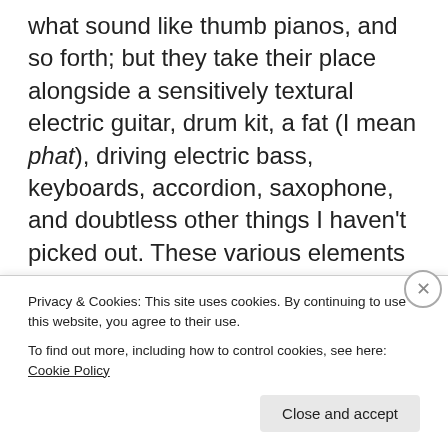what sound like thumb pianos, and so forth; but they take their place alongside a sensitively textural electric guitar, drum kit, a fat (I mean phat), driving electric bass, keyboards, accordion, saxophone, and doubtless other things I haven't picked out. These various elements are assembled into structures that resemble long modal, groove-based jams, but which exhibit too much organised complexity to be very likely to have arisen spontaneously from improvisation. There is a distinct post-punk vibe to proceedings, although this derives mostly from Reaks'
Privacy & Cookies: This site uses cookies. By continuing to use this website, you agree to their use.
To find out more, including how to control cookies, see here: Cookie Policy
Close and accept